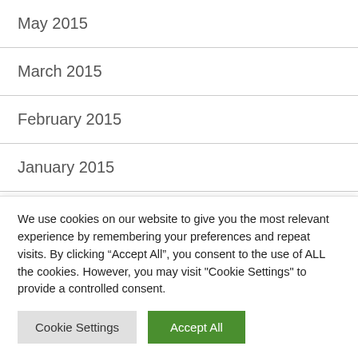May 2015
March 2015
February 2015
January 2015
December 2014
November 2014
We use cookies on our website to give you the most relevant experience by remembering your preferences and repeat visits. By clicking “Accept All”, you consent to the use of ALL the cookies. However, you may visit "Cookie Settings" to provide a controlled consent.
Cookie Settings  Accept All